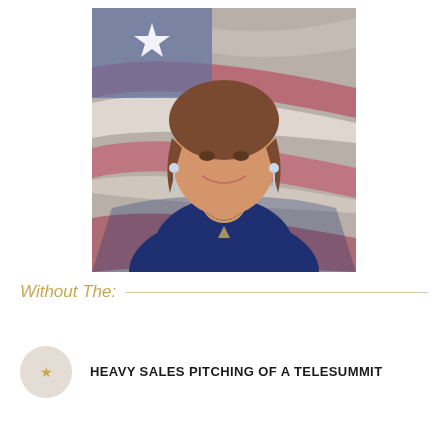[Figure (photo): Portrait photo of a smiling middle-aged woman with shoulder-length brown hair, wearing a navy blue top and a pendant necklace with tassel earrings, posed in front of a painted American flag background with red, white, and blue stripes and a star.]
Without The:
HEAVY SALES PITCHING OF A TELESUMMIT